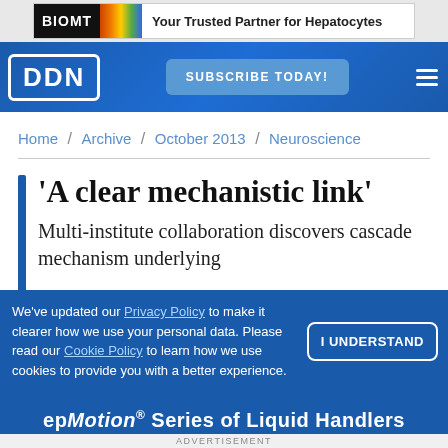[Figure (other): BIOMT advertisement banner: Your Trusted Partner for Hepatocytes]
DDN — SUBSCRIBE TODAY!
Home / Archive / October 2013 / Neuroscience
'A clear mechanistic link'
Multi-institute collaboration discovers cascade mechanism underlying
We've updated our Privacy Policy to make it clearer how we use your personal data. Please read our Cookie Policy to learn how we use cookies to provide you with a better experience.
I UNDERSTAND
[Figure (other): epMotion Series of Liquid Handlers advertisement]